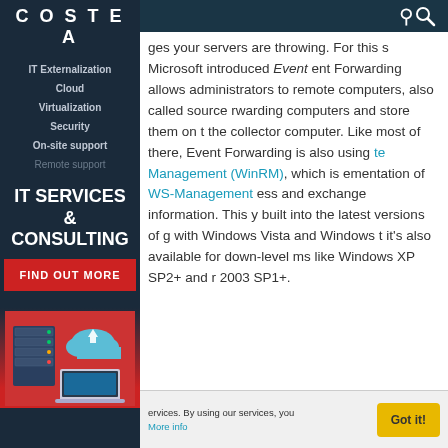COSTEA
IT Externalization
Cloud
Virtualization
Security
On-site support
Remote support
IT SERVICES & CONSULTING
FIND OUT MORE
[Figure (illustration): Server and cloud computing illustration with laptop]
ges your servers are throwing. For this s Microsoft introduced Event ent Forwarding allows administrators to remote computers, also called source rwarding computers and store them on t the collector computer. Like most of there, Event Forwarding is also using te Management (WinRM), which is ementation of WS-Management ess and exchange information. This y built into the latest versions of g with Windows Vista and Windows t it's also available for down-level ms like Windows XP SP2+ and r 2003 SP1+.
ervices. By using our services, you More info
Got it!